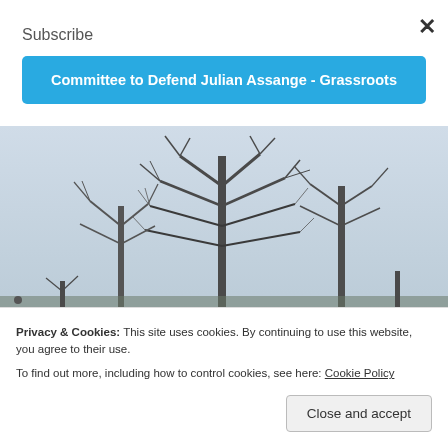Subscribe
Committee to Defend Julian Assange - Grassroots
[Figure (photo): Bare winter trees against a pale blue-grey sky, photo used as background image on the webpage]
Privacy & Cookies: This site uses cookies. By continuing to use this website, you agree to their use.
To find out more, including how to control cookies, see here: Cookie Policy
Close and accept